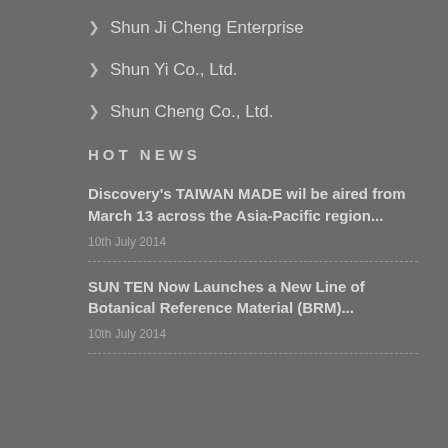Shun Ji Cheng Enterprise
Shun Yi Co., Ltd.
Shun Cheng Co., Ltd.
HOT NEWS
Discovery's TAIWAN MADE wil be aired from March 13 across the Asia-Pacific region...
10th July 2014
SUN TEN Now Launches a New Line of Botanical Reference Material (BRM)...
10th July 2014